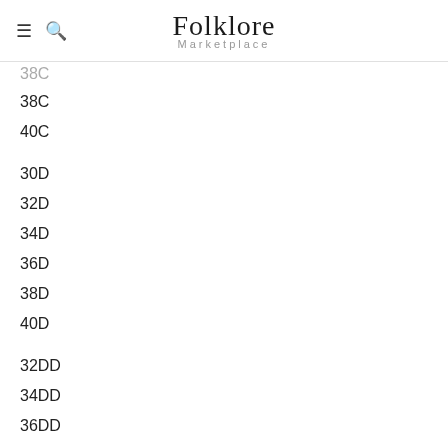The Folklore Marketplace
38C
40C
30D
32D
34D
36D
38D
40D
32DD
34DD
36DD
38DD